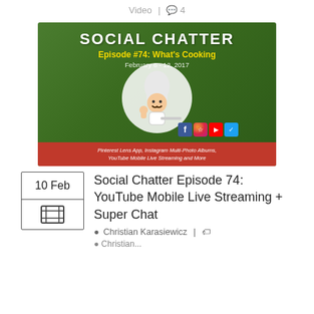Video | 4
[Figure (illustration): Social Chatter Episode #74: What's Cooking thumbnail with green background, chef cartoon figure, social media icons, and red banner. February 6-12, 2017. Pinterest Lens App, Instagram Multi-Photo Albums, YouTube Mobile Live Streaming and More.]
Social Chatter Episode 74: YouTube Mobile Live Streaming + Super Chat
Christian Karasiewicz |
Christian...